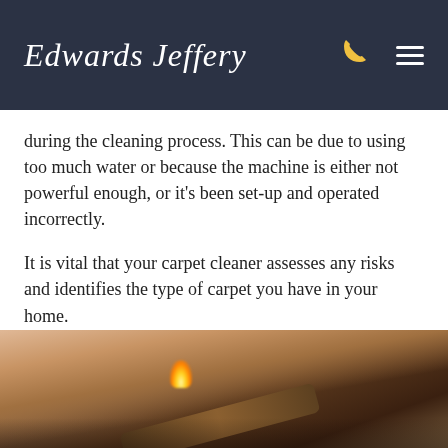Edwards Jeffery
during the cleaning process. This can be due to using too much water or because the machine is either not powerful enough, or it's been set-up and operated incorrectly.
It is vital that your carpet cleaner assesses any risks and identifies the type of carpet you have in your home.
[Figure (photo): Close-up photo of a person's hand holding a lighter or cigarette lighter with a flame, against a blurred background.]